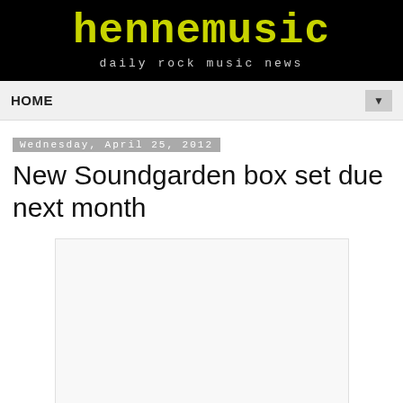hennemusic — daily rock music news
HOME
Wednesday, April 25, 2012
New Soundgarden box set due next month
[Figure (other): Blank/white image placeholder for article content]